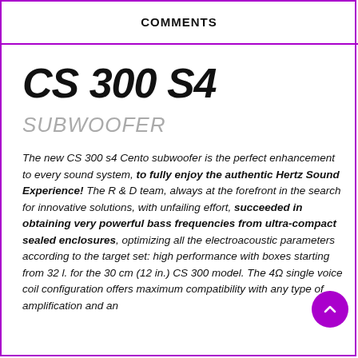COMMENTS
CS 300 S4
SUBWOOFER
The new CS 300 s4 Cento subwoofer is the perfect enhancement to every sound system, to fully enjoy the authentic Hertz Sound Experience! The R & D team, always at the forefront in the search for innovative solutions, with unfailing effort, succeeded in obtaining very powerful bass frequencies from ultra-compact sealed enclosures, optimizing all the electroacoustic parameters according to the target set: high performance with boxes starting from 32 l. for the 30 cm (12 in.) CS 300 model. The 4Ω single voice coil configuration offers maximum compatibility with any type of amplification and an